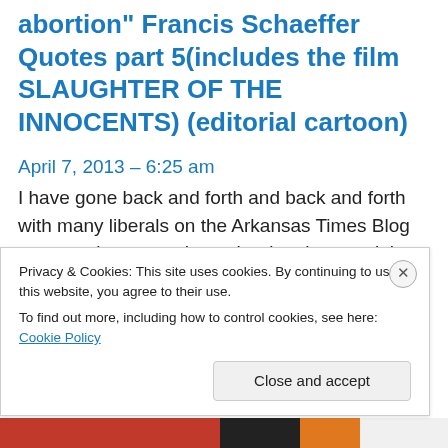abortion" Francis Schaeffer Quotes part 5(includes the film SLAUGHTER OF THE INNOCENTS) (editorial cartoon)
April 7, 2013 – 6:25 am
I have gone back and forth and back and forth with many liberals on the Arkansas Times Blog on many issues such as abortion, human rights, welfare, poverty, gun control  and issues dealing with popular culture. Here is
Privacy & Cookies: This site uses cookies. By continuing to use this website, you agree to their use.
To find out more, including how to control cookies, see here: Cookie Policy
Close and accept